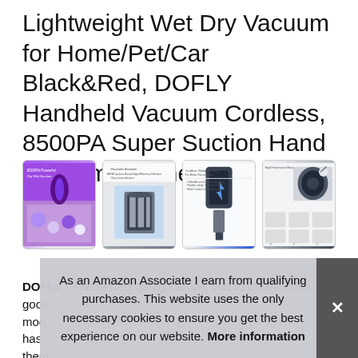Lightweight Wet Dry Vacuum for Home/Pet/Car Black&Red, DOFLY Handheld Vacuum Cordless, 8500PA Super Suction Hand Vacuum Cleaner
[Figure (photo): Four product thumbnail images of a handheld vacuum cleaner showing different features and use cases]
DOFLY - The perfect design allows you to clean with a good moo... has... them... long... tech which could be fully charged in 2.
As an Amazon Associate I earn from qualifying purchases. This website uses the only necessary cookies to ensure you get the best experience on our website. More information